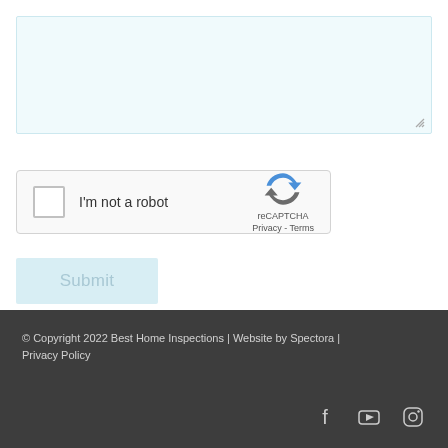[Figure (screenshot): A textarea input box with light blue-tinted background]
[Figure (screenshot): reCAPTCHA widget with checkbox, 'I'm not a robot' label, reCAPTCHA logo, Privacy and Terms links]
[Figure (screenshot): Submit button with light blue background]
© Copyright 2022 Best Home Inspections | Website by Spectora | Privacy Policy
[Figure (screenshot): Social media icons: Facebook, YouTube, Instagram]